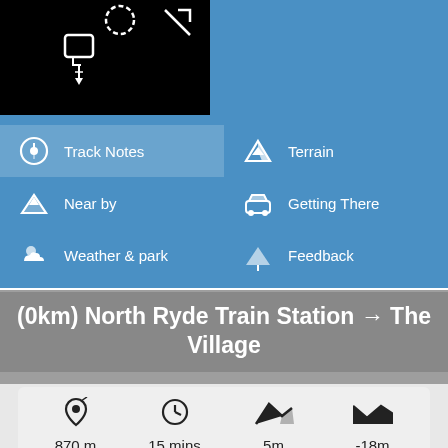[Figure (screenshot): App screenshot showing top navigation menu with black image area and blue background with menu items: Track Notes (active), Terrain, Near by, Getting There, Weather & park, Feedback, Downloads]
(0km) North Ryde Train Station → The Village
870 m  15 mins  5m  -18m  Very easy